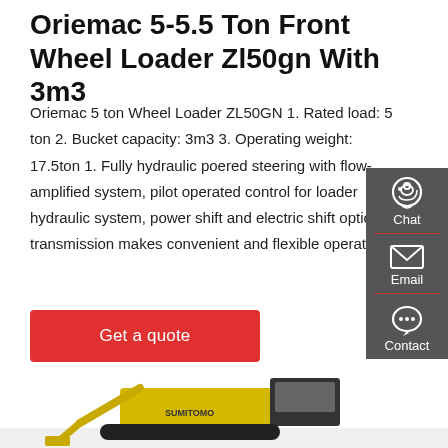Oriemac 5-5.5 Ton Front Wheel Loader Zl50gn With 3m3
Oriemac 5 ton Wheel Loader ZL50GN 1. Rated load: 5 ton 2. Bucket capacity: 3m3 3. Operating weight: 17.5ton 1. Fully hydraulic poered steering with flow-amplified system, pilot operated control for loader hydraulic system, power shift and electric shift optional transmission makes convenient and flexible operating.
[Figure (screenshot): Get a quote red button]
[Figure (photo): Yellow Sumitomo excavator/wheel loader machinery on white background, lower portion of page]